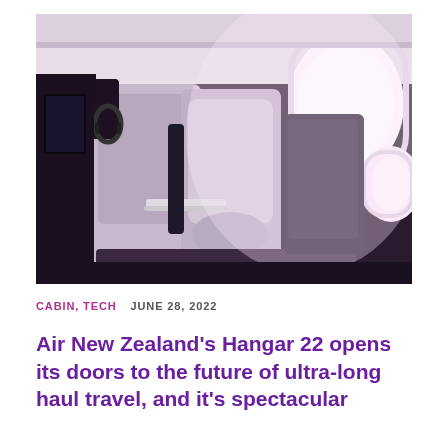[Figure (photo): Interior of an Air New Zealand business class cabin showing a purple/lavender colored seat pod with headphones hanging on the side panel, a tray table, and two bright oval windows illuminating the cabin with warm light. The seats and surfaces have a grey-purple fabric and dark charcoal surrounds.]
CABIN, TECH   JUNE 28, 2022
Air New Zealand's Hangar 22 opens its doors to the future of ultra-long haul travel, and it's spectacular